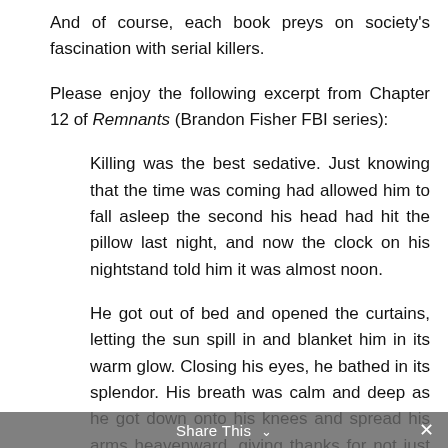And of course, each book preys on society's fascination with serial killers.
Please enjoy the following excerpt from Chapter 12 of Remnants (Brandon Fisher FBI series):
Killing was the best sedative. Just knowing that the time was coming had allowed him to fall asleep the second his head had hit the pillow last night, and now the clock on his nightstand told him it was almost noon.
He got out of bed and opened the curtains, letting the sun spill in and blanket him in its warm glow. Closing his eyes, he bathed in its splendor. His breath was calm and deep as he got down onto his knees and spread his arms heavenward, giving thanks for not just another day but for the blessing of life. Not his, but what would be the beginning of another offering.
Share This